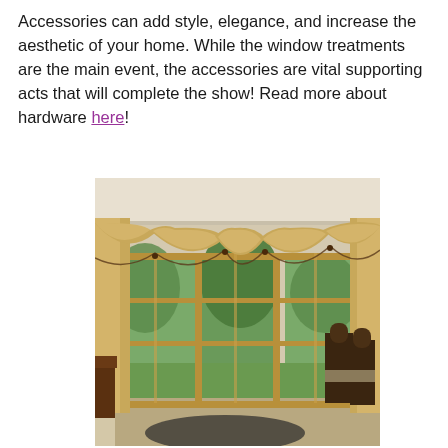Accessories can add style, elegance, and increase the aesthetic of your home. While the window treatments are the main event, the accessories are vital supporting acts that will complete the show! Read more about hardware here!
[Figure (photo): Interior room photo showing large windows with ornate swag and cascade valance drapes in gold/tan fabric with decorative trim. The windows look out onto green trees. Dining chairs are visible on the right side and a dark wood sideboard on the left.]